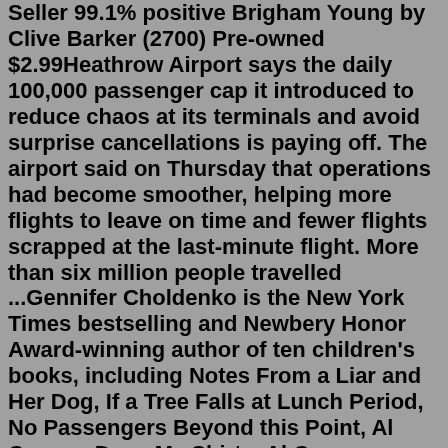Seller 99.1% positive Brigham Young by Clive Barker (2700) Pre-owned $2.99Heathrow Airport says the daily 100,000 passenger cap it introduced to reduce chaos at its terminals and avoid surprise cancellations is paying off. The airport said on Thursday that operations had become smoother, helping more flights to leave on time and fewer flights scrapped at the last-minute flight. More than six million people travelled ...Gennifer Choldenko is the New York Times bestselling and Newbery Honor Award-winning author of ten children's books, including Notes From a Liar and Her Dog, If a Tree Falls at Lunch Period, No Passengers Beyond this Point, Al Capone Does My Shirts, Al Capone Shines My Shoes, and Al Capone Does My Homework.She lives in the San Francisco Bay Area with her family.At what point in time am I entering Germany? In general, when entering the Federal Republic of Germany by land, sea or air, entry represents when Do airline passengers who are simply changing flights in the Federal Republic of Germany have to comply with the provisions of the